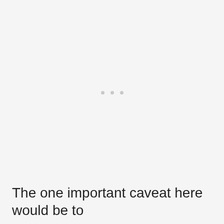[Figure (other): Three small light gray dots centered in the upper portion of the page, indicating a loading or ellipsis state]
The one important caveat here would be to